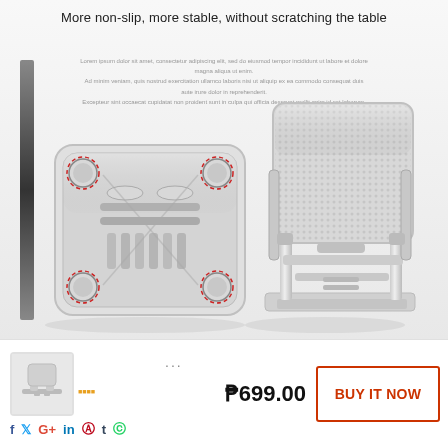[Figure (photo): Product photo showing a foldable aluminum phone/tablet desk stand. Left side shows the bottom of the stand with rubber feet (circled in red dashed lines) and the folding mechanism with multiple slots. Right side shows the stand in upright position with a mesh backing. Background is light grey with decorative text. A vertical dark bar is visible on the left edge.]
More non-slip, more stable, without scratching the table
... (small descriptive text lines in background)
[Figure (photo): Small thumbnail image of the folded phone stand, shown at bottom left of page.]
...
₱699.00
BUY IT NOW
f  𝕏  G+  in  ®  t  ◎